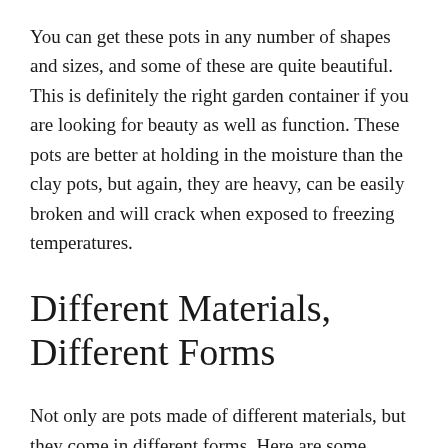You can get these pots in any number of shapes and sizes, and some of these are quite beautiful. This is definitely the right garden container if you are looking for beauty as well as function. These pots are better at holding in the moisture than the clay pots, but again, they are heavy, can be easily broken and will crack when exposed to freezing temperatures.
Different Materials, Different Forms
Not only are pots made of different materials, but they come in different forms. Here are some examples you can use for growing vegetables in containers: